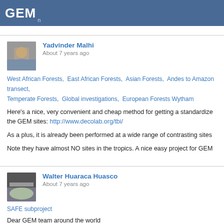GEM
Yadvinder Malhi
About 7 years ago
West African Forests, East African Forests, Asian Forests, Andes to Amazon transect, Temperate Forests, Global investigations, European Forests Wytham
Here's a nice, very convenient and cheap method for getting a standardized litter decomposition measurement at the GEM sites: http://www.decolab.org/tbi/
As a plus, it is already been performed at a wide range of contrasting sites
Note they have almost NO sites in the tropics. A nice easy project for GEM
Walter Huaraca Huasco
About 7 years ago
SAFE subproject
Dear GEM team around the world
Photos of last campaign in Benta and Danum Valley, Sabah-Borneo. A new